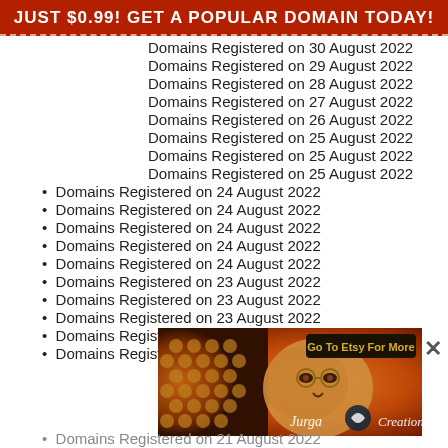JUST $0.99! GET A POPULAR DOMAIN TODAY!
Domains Registered on 30 August 2022
Domains Registered on 29 August 2022
Domains Registered on 28 August 2022
Domains Registered on 27 August 2022
Domains Registered on 26 August 2022
Domains Registered on 25 August 2022
Domains Registered on 25 August 2022
Domains Registered on 25 August 2022
Domains Registered on 24 August 2022
Domains Registered on 24 August 2022
Domains Registered on 24 August 2022
Domains Registered on 24 August 2022
Domains Registered on 24 August 2022
Domains Registered on 23 August 2022
Domains Registered on 23 August 2022
Domains Registered on 23 August 2022
Domains Registered on 23 August 2022
Domains Registered on 23 August 2022
[Figure (illustration): Advertisement banner with artistic painting (face with honeycomb pattern) for Jurga Creations on Etsy, with 'Go To Etsy For More' button]
Domains Registered on 21 August 2022